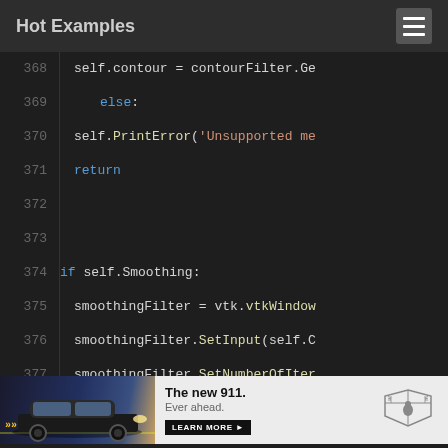Hot Examples
[Figure (screenshot): Code editor screenshot showing Python code lines 368-384 with syntax highlighting on dark background]
[Figure (photo): Porsche 911 advertisement: 'The new 911. Ever ahead.' with LEARN MORE button and Porsche logo]